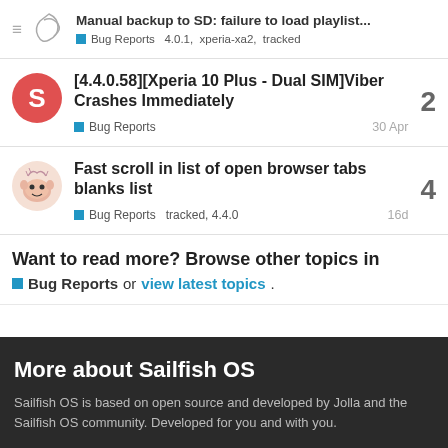Manual backup to SD: failure to load playlist... Bug Reports  4.0.1,  xperia-xa2,  tracked
[4.4.0.58][Xperia 10 Plus - Dual SIM]Viber Crashes Immediately — Bug Reports — 30 Apr — 2 replies
Fast scroll in list of open browser tabs blanks list — Bug Reports  tracked, 4.4.0 — 16d — 4 replies
Want to read more? Browse other topics in Bug Reports or view latest topics.
More about Sailfish OS
Sailfish OS is based on open source and developed by Jolla and the Sailfish OS community. Developed for you and with you.